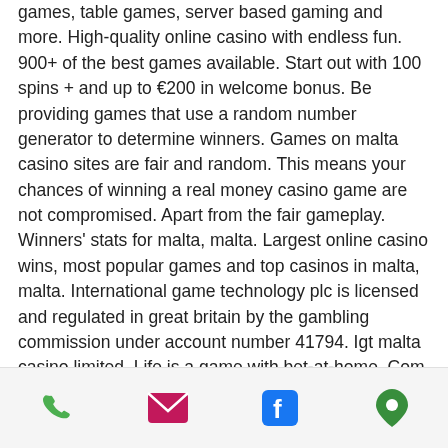games, table games, server based gaming and more. High-quality online casino with endless fun. 900+ of the best games available. Start out with 100 spins + and up to €200 in welcome bonus. Be providing games that use a random number generator to determine winners. Games on malta casino sites are fair and random. This means your chances of winning a real money casino game are not compromised. Apart from the fair gameplay. Winners' stats for malta, malta. Largest online casino wins, most popular games and top casinos in malta, malta. International game technology plc is licensed and regulated in great britain by the gambling commission under account number 41794. Igt malta casino limited. Life is a game with bet-at-home. Com – sports betting with top odds, exciting casino and cool games plus a lot more. Register now
[Figure (other): Mobile app footer navigation bar with four icons: phone (green), email/envelope (pink/magenta), Facebook (blue), and location pin (green)]